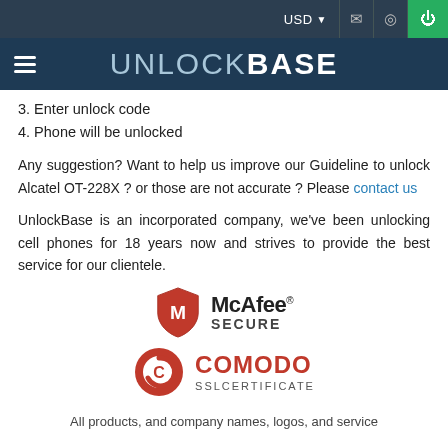[Figure (screenshot): UnlockBase website header with dark navy top bar showing USD currency selector, mail icon, location icon, and green power button]
[Figure (logo): UnlockBase logo in white and light blue text on dark navy background with hamburger menu]
3. Enter unlock code
4. Phone will be unlocked
Any suggestion? Want to help us improve our Guideline to unlock Alcatel OT-228X ? or those are not accurate ? Please contact us
UnlockBase is an incorporated company, we've been unlocking cell phones for 18 years now and strives to provide the best service for our clientele.
[Figure (logo): McAfee SECURE badge with red shield logo]
[Figure (logo): Comodo SSL Certificate badge with red circular C logo]
All products, and company names, logos, and service